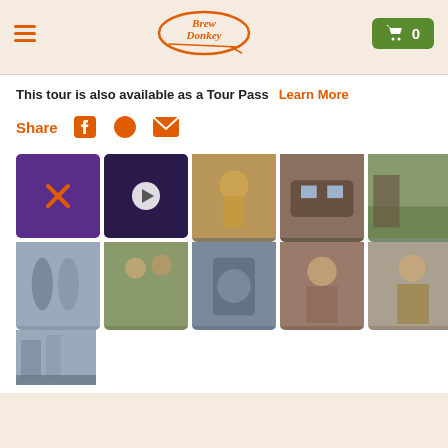Brew Donkey - Cart 0
This tour is also available as a Tour Pass
Learn More
Share
[Figure (photo): Grid of brewery tour photos and a video thumbnail showing beer tours, brewery equipment, and people enjoying craft beer]
[Figure (photo): Partial photo of brewery interior at the bottom]